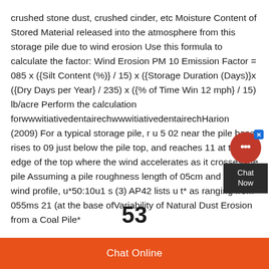crushed stone dust, crushed cinder, etc Moisture Content of Stored Material released into the atmosphere from this storage pile due to wind erosion Use this formula to calculate the factor: Wind Erosion PM 10 Emission Factor = 085 x ({Silt Content (%)} / 15) x ({Storage Duration (Days)}x ({Dry Days per Year} / 235) x ({% of Time Win 12 mph} / 15) lb/acre Perform the calculation forwwwitiativedentairechwwwitiativedentairechHarion (2009) For a typical storage pile, r u 5 02 near the pile base, rises to 09 just below the pile top, and reaches 11 at the edge of the top where the wind accelerates as it crosses the pile Assuming a pile roughness length of 05cm and a log wind profile, u*50:10u1 s (3) AP42 lists u t* as ranging from 055ms 21 (at the base ofVariability of Natural Dust Erosion from a Coal Pile*
Chat Online